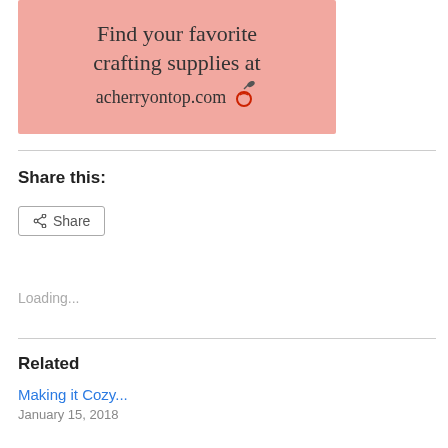[Figure (illustration): Advertisement banner with pink background showing text 'Find your favorite crafting supplies at acherryontop.com' with a cherry logo icon]
Share this:
Share
Loading...
Related
Making it Cozy...
January 15, 2018